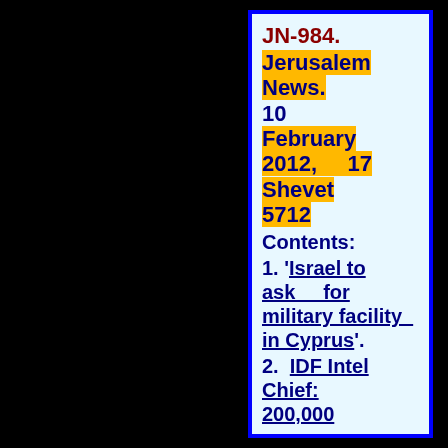JN-984. Jerusalem News. 10 February 2012, 17 Shevet 5712
Contents:
1. 'Israel to ask for military facility in Cyprus'.
2. IDF Intel Chief: 200,000